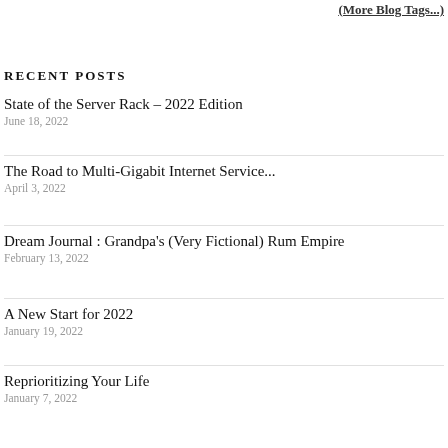(More Blog Tags...)
RECENT POSTS
State of the Server Rack – 2022 Edition
June 18, 2022
The Road to Multi-Gigabit Internet Service...
April 3, 2022
Dream Journal : Grandpa's (Very Fictional) Rum Empire
February 13, 2022
A New Start for 2022
January 19, 2022
Reprioritizing Your Life
January 7, 2022